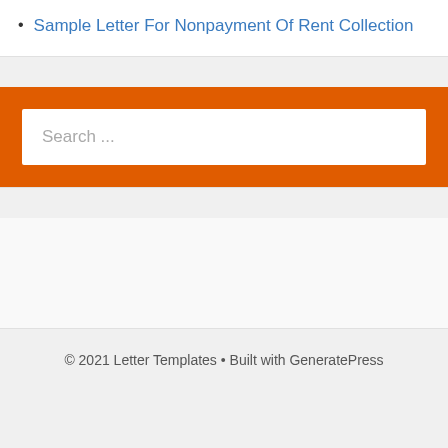Sample Letter For Nonpayment Of Rent Collection
[Figure (other): Search bar widget with orange background and white search input field showing placeholder text 'Search ...']
[Figure (other): Advertisement or empty content section]
© 2021 Letter Templates • Built with GeneratePress